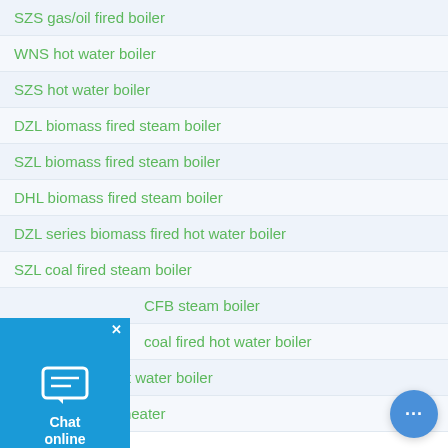SZS gas/oil fired boiler
WNS hot water boiler
SZS hot water boiler
DZL biomass fired steam boiler
SZL biomass fired steam boiler
DHL biomass fired steam boiler
DZL series biomass fired hot water boiler
SZL coal fired steam boiler
CFB steam boiler
coal fired hot water boiler
SZL coal fired hot water boiler
YLW thermal oil heater